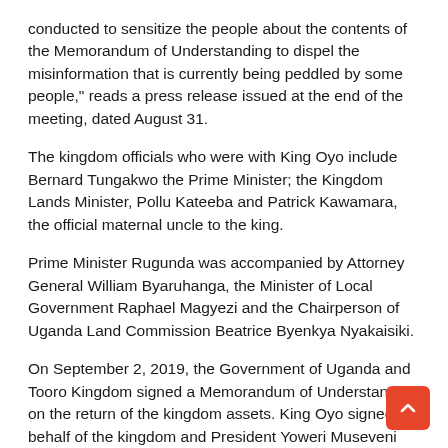conducted to sensitize the people about the contents of the Memorandum of Understanding to dispel the misinformation that is currently being peddled by some people," reads a press release issued at the end of the meeting, dated August 31.
The kingdom officials who were with King Oyo include Bernard Tungakwo the Prime Minister; the Kingdom Lands Minister, Pollu Kateeba and Patrick Kawamara, the official maternal uncle to the king.
Prime Minister Rugunda was accompanied by Attorney General William Byaruhanga, the Minister of Local Government Raphael Magyezi and the Chairperson of Uganda Land Commission Beatrice Byenkya Nyakaisiki.
On September 2, 2019, the Government of Uganda and Tooro Kingdom signed a Memorandum of Understanding on the return of the kingdom assets. King Oyo signed on behalf of the kingdom and President Yoweri Museveni and the Attorney General William Byaruhanga represented the government.
The MoU was followed by a meeting in December to launch the joint verification committee between government and the kingdom. During the meeting, the Prime Minister of Uganda Ruhakana Rugunda was accompanied by...